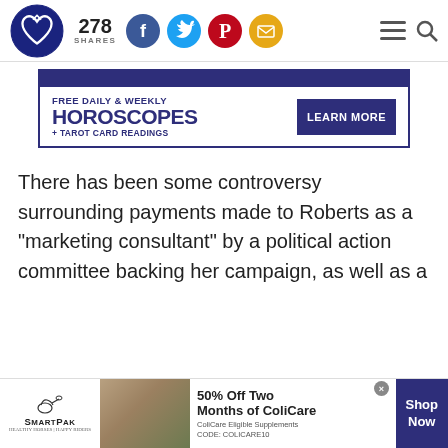278 SHARES — social sharing bar with logo, Facebook, Twitter, Pinterest, Email icons, hamburger menu and search
[Figure (infographic): Advertisement banner: FREE DAILY & WEEKLY HOROSCOPES + TAROT CARD READINGS — LEARN MORE button, dark blue background top bar]
There has been some controversy surrounding payments made to Roberts as a "marketing consultant" by a political action committee backing her campaign, as well as a
[Figure (infographic): SmartPak advertisement banner — 50% Off Two Months of ColiCare, ColiCare Eligible Supplements CODE: COLICARE10, Shop Now button]